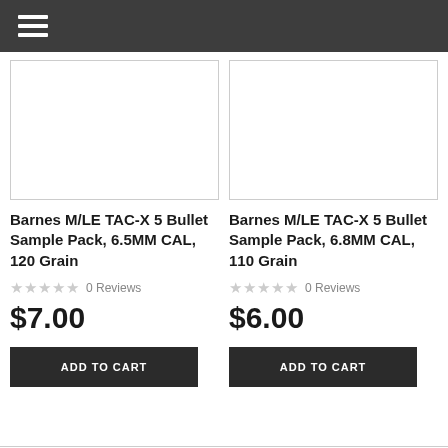Navigation menu
[Figure (other): Product image placeholder for Barnes M/LE TAC-X 5 Bullet Sample Pack, 6.5MM CAL, 120 Grain]
Barnes M/LE TAC-X 5 Bullet Sample Pack, 6.5MM CAL, 120 Grain
0 Reviews
$7.00
ADD TO CART
[Figure (other): Product image placeholder for Barnes M/LE TAC-X 5 Bullet Sample Pack, 6.8MM CAL, 110 Grain]
Barnes M/LE TAC-X 5 Bullet Sample Pack, 6.8MM CAL, 110 Grain
0 Reviews
$6.00
ADD TO CART